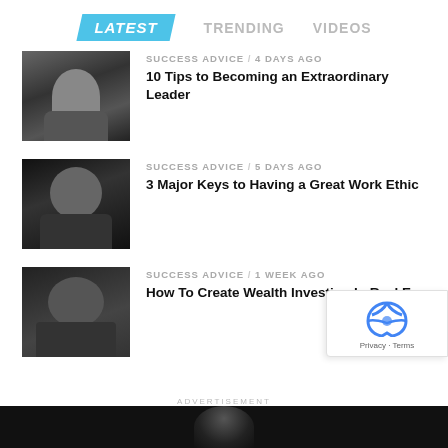LATEST  TRENDING  VIDEOS
SUCCESS ADVICE / 4 days ago
10 Tips to Becoming an Extraordinary Leader
SUCCESS ADVICE / 5 days ago
3 Major Keys to Having a Great Work Ethic
SUCCESS ADVICE / 1 week ago
How To Create Wealth Investing In Real E...
ADVERTISEMENT